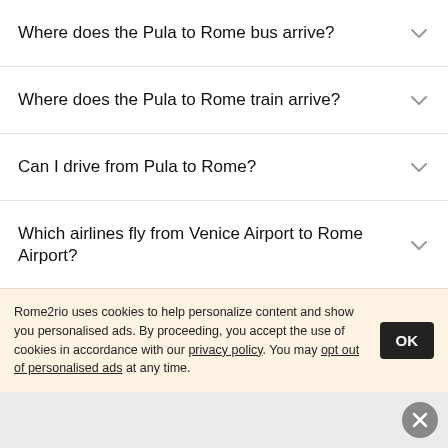Where does the Pula to Rome bus arrive?
Where does the Pula to Rome train arrive?
Can I drive from Pula to Rome?
Which airlines fly from Venice Airport to Rome Airport?
How do I get a bus ticket from Pula to Rome?
Where can I stay near Rome?
Rome2rio uses cookies to help personalize content and show you personalised ads. By proceeding, you accept the use of cookies in accordance with our privacy policy. You may opt out of personalised ads at any time.